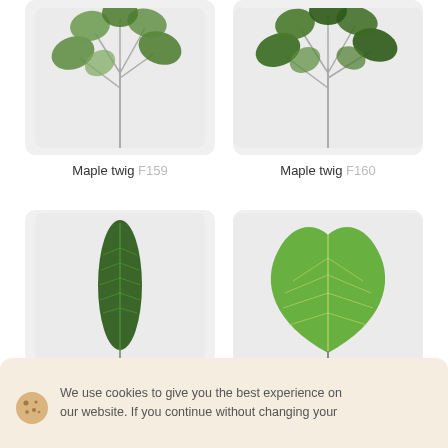[Figure (illustration): Maple twig product illustration with green maple leaves on grey-brown stem, product code F159]
Maple twig F159
[Figure (illustration): Maple twig product illustration with dark green maple leaves on grey stem, product code F160]
Maple twig F160
[Figure (illustration): Peacock leaf illustration, narrow elongated dark green leaf with light green lateral veins, product code A206]
peacock leaf A206
[Figure (illustration): Pothos leaf illustration, large heart-shaped bright green leaf with yellow-green veins, product code A337]
Pothos leaf A337
We use cookies to give you the best experience on our website. If you continue without changing your